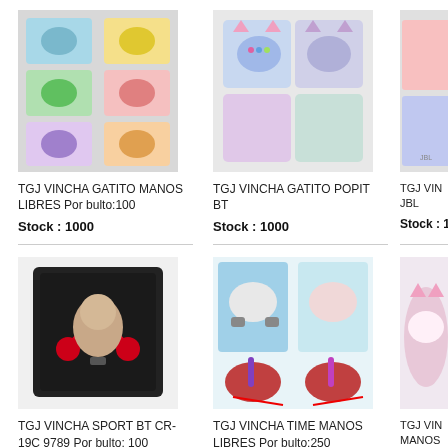[Figure (photo): TGJ VINCHA GATITO MANOS LIBRES headphones product photo, multiple colorful headphones displayed]
TGJ VINCHA GATITO MANOS LIBRES Por bulto:100
Stock : 1000
[Figure (photo): TGJ VINCHA GATITO POPIT BT headphones product photo, cat ear style headphones in multiple colors]
TGJ VINCHA GATITO POPIT BT
Stock : 1000
[Figure (photo): TGJ VIN JBL headphones product photo, partially visible, colorful headphones in box]
TGJ VIN JBL
Stock : 1
[Figure (photo): TGJ VINCHA SPORT BT CR-19C 9789 sport headphones, black sports bluetooth headset product photo]
TGJ VINCHA SPORT BT CR-19C 9789 Por bulto: 100
[Figure (photo): TGJ VINCHA TIME MANOS LIBRES headphones product photo, multiple colorful headphones with accessories]
TGJ VINCHA TIME MANOS LIBRES Por bulto:250
[Figure (photo): TGJ VIN MANOS partially visible product photo]
TGJ VIN MANOS